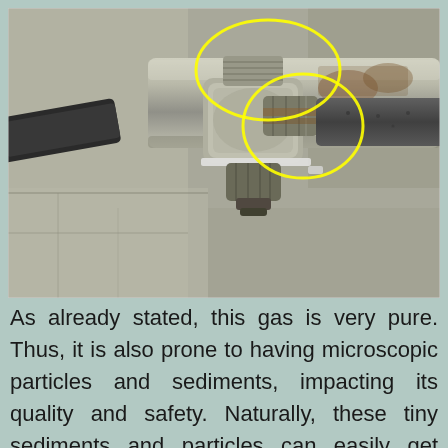[Figure (photo): Close-up photograph of old metal gas pipe fittings and joints against a concrete wall. Two yellow circles are drawn on the image highlighting corroded threaded pipe connections and a coupling joint.]
As already stated, this gas is very pure. Thus, it is also prone to having microscopic particles and sediments, impacting its quality and safety. Naturally, these tiny sediments and particles can easily get trapped within the line. Once this happens, a natural gas leak can occur and